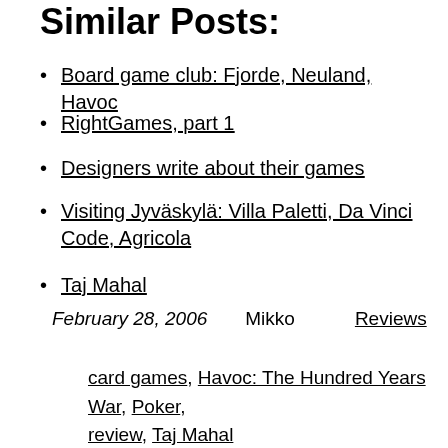Similar Posts:
Board game club: Fjorde, Neuland, Havoc
RightGames, part 1
Designers write about their games
Visiting Jyväskylä: Villa Paletti, Da Vinci Code, Agricola
Taj Mahal
February 28, 2006   Mikko   Reviews
card games, Havoc: The Hundred Years War, Poker, review, Taj Mahal